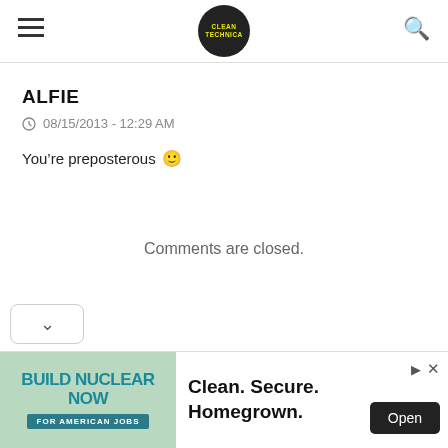CLEANTECHNICA (logo)
ALFIE
08/15/2013 - 12:29 AM
You're preposterous 🙂
Comments are closed.
[Figure (other): Advertisement banner: BUILD NUCLEAR NOW FOR AMERICAN JOBS - Clean. Secure. Homegrown. Open button]